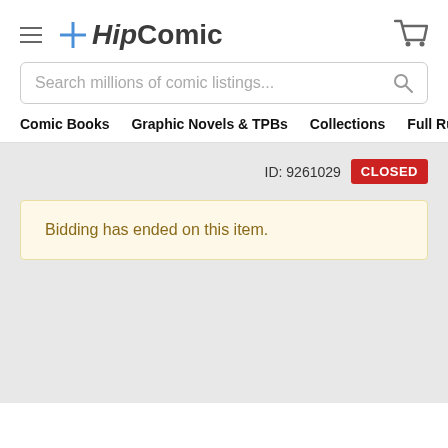HipComic
Search millions of comic listings...
Comic Books  Graphic Novels & TPBs  Collections  Full Runs & Sets  More Categ
ID: 9261029  CLOSED
Bidding has ended on this item.